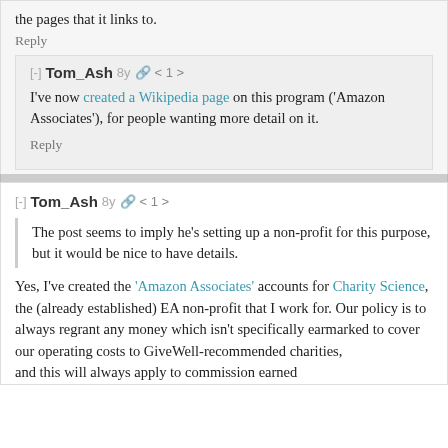the pages that it links to.
Reply
[-] Tom_Ash 8y 🔗 < 1 >
I've now created a Wikipedia page on this program ('Amazon Associates'), for people wanting more detail on it.
Reply
[-] Tom_Ash 8y 🔗 < 1 >
The post seems to imply he's setting up a non-profit for this purpose, but it would be nice to have details.
Yes, I've created the 'Amazon Associates' accounts for Charity Science, the (already established) EA non-profit that I work for. Our policy is to always regrant any money which isn't specifically earmarked to cover our operating costs to GiveWell-recommended charities, and this will always apply to commission earned...